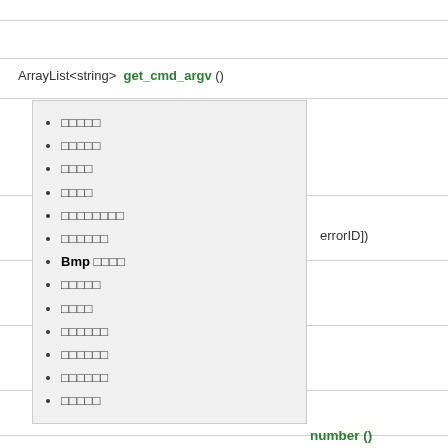ArrayList<string>  get_cmd_argv ()
□□□□□
□□□□□
□□□□
□□□□
□□□□□□□□
□□□□□□
Bmp □□□□
□□□□□
□□□□
□□□□□□
□□□□□□
□□□□□□
errorID])
number ()